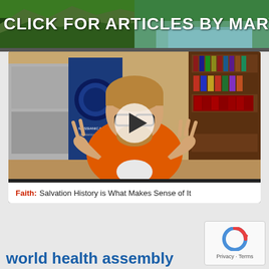[Figure (photo): Banner header with nature/forest background images and white bold text reading CLICK FOR ARTICLES BY MARY]
[Figure (screenshot): Video thumbnail showing a man in an orange shirt with glasses, sitting in front of bookshelves and a Messianic Apologetics banner. A play button is overlaid in the center. Caption bar at bottom reads Faith: Salvation History is What Makes Sense of It]
[Figure (other): reCAPTCHA widget in bottom right corner with the reCAPTCHA logo and Privacy - Terms text]
world health assembly